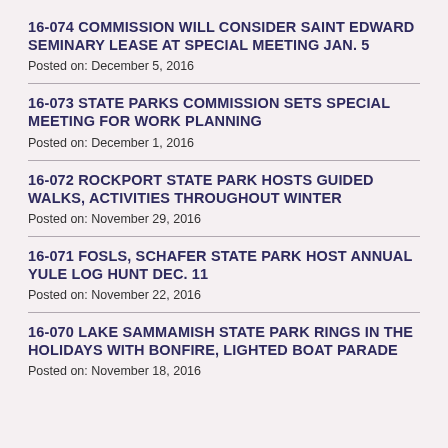16-074 COMMISSION WILL CONSIDER SAINT EDWARD SEMINARY LEASE AT SPECIAL MEETING JAN. 5
Posted on: December 5, 2016
16-073 STATE PARKS COMMISSION SETS SPECIAL MEETING FOR WORK PLANNING
Posted on: December 1, 2016
16-072 ROCKPORT STATE PARK HOSTS GUIDED WALKS, ACTIVITIES THROUGHOUT WINTER
Posted on: November 29, 2016
16-071 FOSLS, SCHAFER STATE PARK HOST ANNUAL YULE LOG HUNT DEC. 11
Posted on: November 22, 2016
16-070 LAKE SAMMAMISH STATE PARK RINGS IN THE HOLIDAYS WITH BONFIRE, LIGHTED BOAT PARADE
Posted on: November 18, 2016